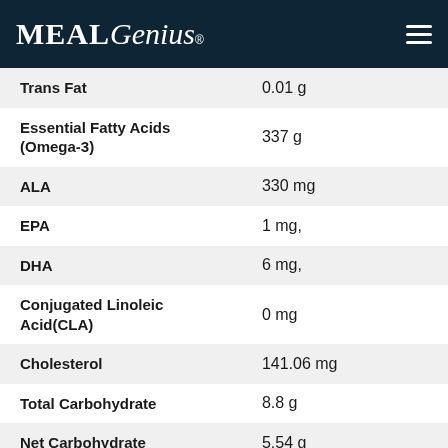MealGenius
| Nutrient | Amount |
| --- | --- |
| Trans Fat | 0.01 g |
| Essential Fatty Acids (Omega-3) | 337 g |
| ALA | 330 mg |
| EPA | 1 mg, |
| DHA | 6 mg, |
| Conjugated Linoleic Acid(CLA) | 0 mg |
| Cholesterol | 141.06 mg |
| Total Carbohydrate | 8.8 g |
| Net Carbohydrate | 5.54 g |
| Sugars | 1.61 g |
| Fiber | 3.26 g |
| Protein | 18.76 g |